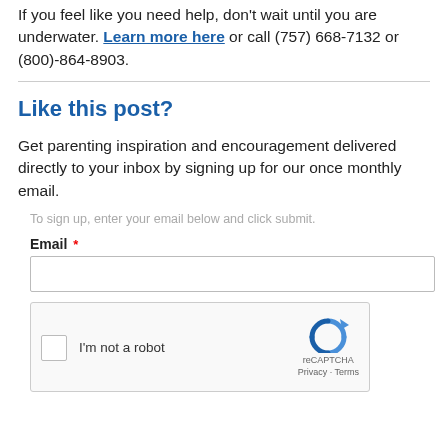If you feel like you need help, don't wait until you are underwater. Learn more here or call (757) 668-7132 or (800)-864-8903.
Like this post?
Get parenting inspiration and encouragement delivered directly to your inbox by signing up for our once monthly email.
To sign up, enter your email below and click submit.
Email *
[Figure (screenshot): reCAPTCHA widget with checkbox labeled 'I'm not a robot' and reCAPTCHA logo with Privacy and Terms links]